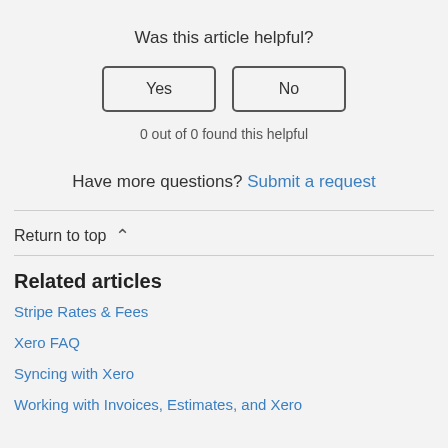Was this article helpful?
Yes   No
0 out of 0 found this helpful
Have more questions? Submit a request
Return to top
Related articles
Stripe Rates & Fees
Xero FAQ
Syncing with Xero
Working with Invoices, Estimates, and Xero